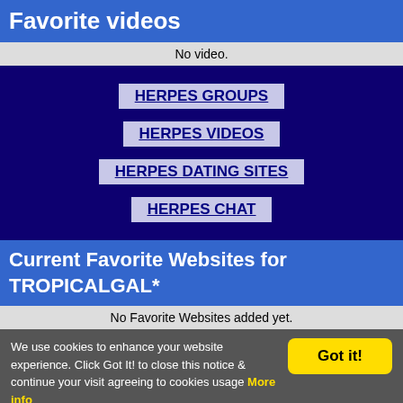Favorite videos
No video.
HERPES GROUPS
HERPES VIDEOS
HERPES DATING SITES
HERPES CHAT
Current Favorite Websites for TROPICALGAL*
No Favorite Websites added yet.
We use cookies to enhance your website experience. Click Got It! to close this notice & continue your visit agreeing to cookies usage More info